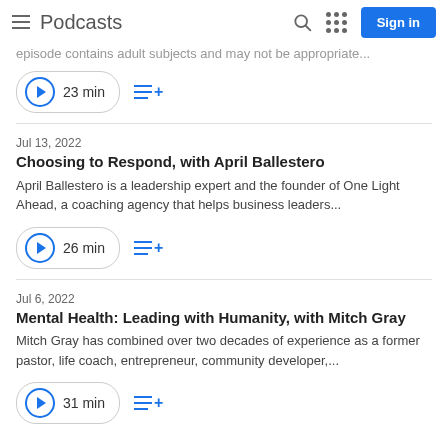Podcasts
episode contains adult subjects and may not be appropriate...
23 min
Jul 13, 2022
Choosing to Respond, with April Ballestero
April Ballestero is a leadership expert and the founder of One Light Ahead, a coaching agency that helps business leaders...
26 min
Jul 6, 2022
Mental Health: Leading with Humanity, with Mitch Gray
Mitch Gray has combined over two decades of experience as a former pastor, life coach, entrepreneur, community developer,...
31 min